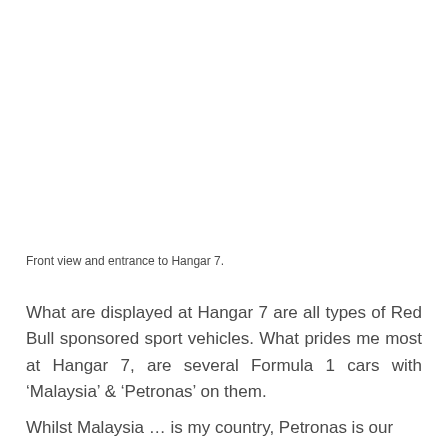Front view and entrance to Hangar 7.
What are displayed at Hangar 7 are all types of Red Bull sponsored sport vehicles. What prides me most at Hangar 7, are several Formula 1 cars with ‘Malaysia’ & ‘Petronas’ on them.
Whilst Malaysia ... is my country, Petronas is our